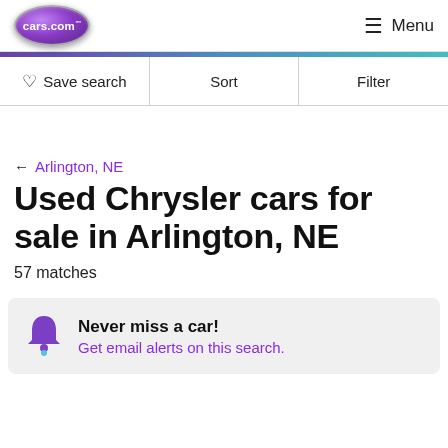[Figure (logo): cars.com logo - purple oval with white text]
Menu
♡ Save search   Sort   Filter
← Arlington, NE
Used Chrysler cars for sale in Arlington, NE
57 matches
Never miss a car! Get email alerts on this search.